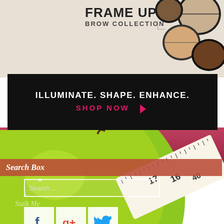[Figure (photo): Cosmetics brow collection compact powders on white/light background, with FRAME UP BROW COLLECTION text]
[Figure (photo): Black banner advertisement: ILLUMINATE. SHAPE. ENHANCE. SHOP NOW with pink arrow]
[Figure (photo): Background photo of green apple with measuring tape wrapped around it, blurred pink/red tones in upper portion]
Search Box
Search ...
Stalk Me
[Figure (infographic): Social media icons: Facebook (f), Google+ (g+), Twitter (bird) in white square tiles with zigzag bottom edges]